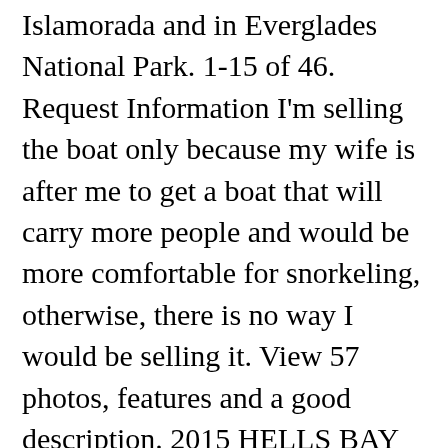Islamorada and in Everglades National Park. 1-15 of 46. Request Information I'm selling the boat only because my wife is after me to get a boat that will carry more people and would be more comfortable for snorkeling, otherwise, there is no way I would be selling it. View 57 photos, features and a good description. 2015 HELLS BAY BOAT WORKS INC Biscayne favorite this ... **Running and Fishing **Fly-fishermen in the market for a boat that can weave in and out of the nar-rowest mangrove canals or stalk the flats in search of nervous shallow-water game fish will definitely want to take a ... New switch panel, voltmeter, and other miscellaneous fixes- small center console- hydraulic steering with Edson